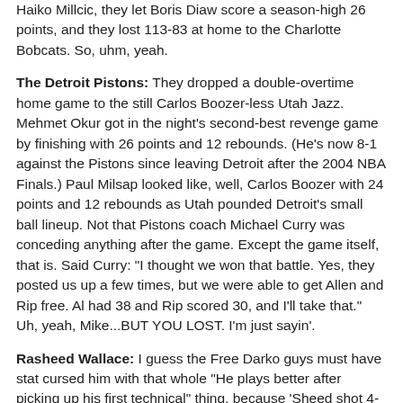Haiko Millcic, they let Boris Diaw score a season-high 26 points, and they lost 113-83 at home to the Charlotte Bobcats. So, uhm, yeah.
The Detroit Pistons: They dropped a double-overtime home game to the still Carlos Boozer-less Utah Jazz. Mehmet Okur got in the night's second-best revenge game by finishing with 26 points and 12 rebounds. (He's now 8-1 against the Pistons since leaving Detroit after the 2004 NBA Finals.) Paul Milsap looked like, well, Carlos Boozer with 24 points and 12 rebounds as Utah pounded Detroit's small ball lineup. Not that Pistons coach Michael Curry was conceding anything after the game. Except the game itself, that is. Said Curry: "I thought we won that battle. Yes, they posted us up a few times, but we were able to get Allen and Rip free. Al had 38 and Rip scored 30, and I'll take that." Uh, yeah, Mike...BUT YOU LOST. I'm just sayin'.
Rasheed Wallace: I guess the Free Darko guys must have stat cursed him with that whole "He plays better after picking up his first technical" thing, because 'Sheed shot 4-for-10 and fouled out after picking up his 10th tech of the season. But I'd be a great guy to invite to a visit...